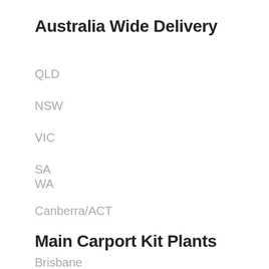Australia Wide Delivery
QLD
NSW
VIC
SA
WA
Canberra/ACT
Main Carport Kit Plants
Brisbane